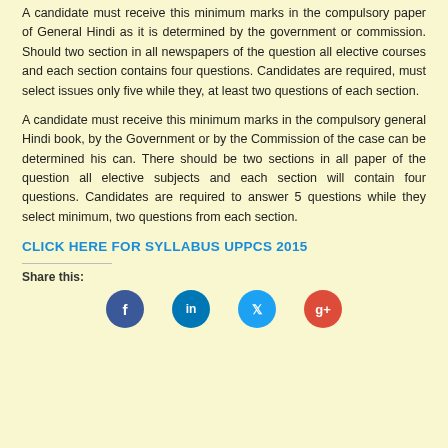A candidate must receive this minimum marks in the compulsory paper of General Hindi as it is determined by the government or commission. Should two section in all newspapers of the question all elective courses and each section contains four questions. Candidates are required, must select issues only five while they, at least two questions of each section.
A candidate must receive this minimum marks in the compulsory general Hindi book, by the Government or by the Commission of the case can be determined his can. There should be two sections in all paper of the question all elective subjects and each section will contain four questions. Candidates are required to answer 5 questions while they select minimum, two questions from each section.
CLICK HERE FOR SYLLABUS UPPCS 2015
Share this: